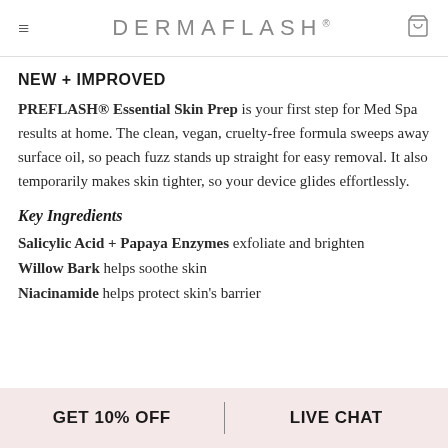DERMAFLASH
NEW + IMPROVED
PREFLASH® Essential Skin Prep is your first step for Med Spa results at home. The clean, vegan, cruelty-free formula sweeps away surface oil, so peach fuzz stands up straight for easy removal. It also temporarily makes skin tighter, so your device glides effortlessly.
Key Ingredients
Salicylic Acid + Papaya Enzymes exfoliate and brighten
Willow Bark helps soothe skin
Niacinamide helps protect skin's barrier
GET 10% OFF | LIVE CHAT